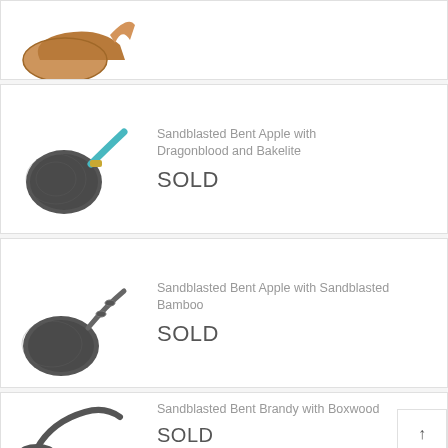[Figure (photo): Partial view of a wooden pipe (brown/tan color) at the top of the page, cropped]
[Figure (photo): Sandblasted bent apple pipe with turquoise/teal Dragonblood stem and gold band, Bakelite mouthpiece]
Sandblasted Bent Apple with Dragonblood and Bakelite
SOLD
[Figure (photo): Sandblasted bent apple pipe with sandblasted bamboo stem, dark grey/black finish]
Sandblasted Bent Apple with Sandblasted Bamboo
SOLD
[Figure (photo): Partial view of pipe at bottom, sandblasted bent brandy with boxwood]
Sandblasted Bent Brandy with Boxwood
SOLD